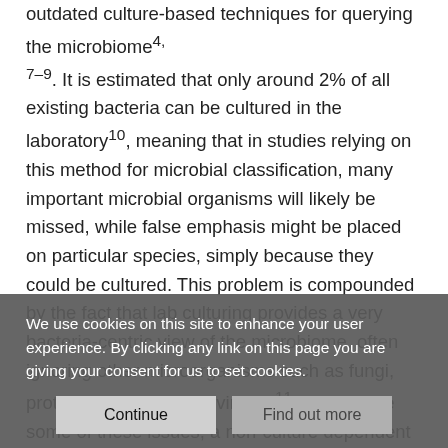outdated culture-based techniques for querying the microbiome4,7–9. It is estimated that only around 2% of all existing bacteria can be cultured in the laboratory10, meaning that in studies relying on this method for microbial classification, many important microbial organisms will likely be missed, while false emphasis might be placed on particular species, simply because they could be cultured. This problem is compounded by the fact that lab culturing provides a very bacteria-centric view of the microbiome, often ignoring other microorganisms such as fungi, protozoa, archaea and viruses11. To alleviate some of these issues, a non-culture dependent technique called 16S rRNA gene sequencing, which relies on Next Generation Sequencing (NGS), was
We use cookies on this site to enhance your user experience. By clicking any link on this page you are giving your consent for us to set cookies.